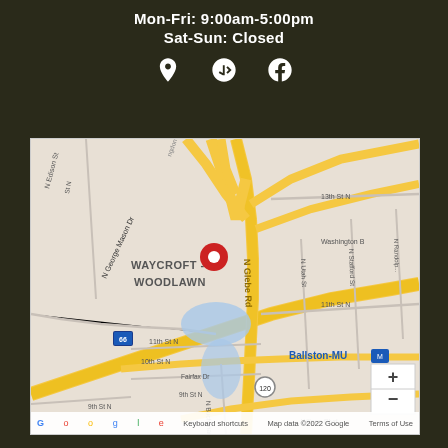Mon-Fri: 9:00am-5:00pm
Sat-Sun: Closed
[Figure (other): Three icons: location pin, Yelp, Facebook]
[Figure (map): Google Maps embed showing Waycroft-Woodlawn neighborhood in Arlington VA, with a red location pin on N Glebe Rd near I-66. Shows streets: N Edison St, N George Mason Dr, 11th St N, 10th St N, 9th St N, Fairfax Dr, N Buchanan St, Wilson Blvd, N Utah St, N Stafford St, N Randolph St, 13th St N, 11th St N. Shows Ballston-MU label, route markers 66 and 120. Map data ©2022 Google.]